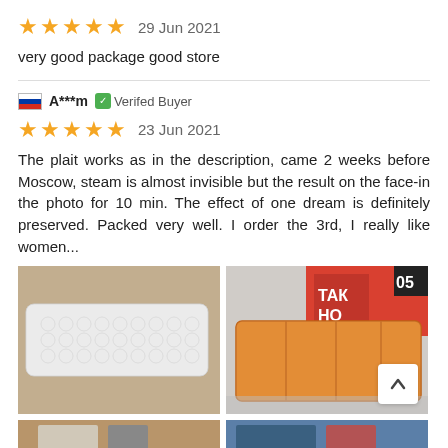★★★★★  29 Jun 2021
very good package good store
A***m  Verifed Buyer
★★★★★  23 Jun 2021
The plait works as in the description, came 2 weeks before Moscow, steam is almost invisible but the result on the face-in the photo for 10 min. The effect of one dream is definitely preserved. Packed very well. I order the 3rd, I really like women...
[Figure (photo): Photo of a white bubble-wrap packaged item on a wooden surface]
[Figure (photo): Photo of an orange/yellow packaged product next to a red bag with Cyrillic text]
[Figure (photo): Partial bottom-left photo, partially visible]
[Figure (photo): Partial bottom-right photo, partially visible]